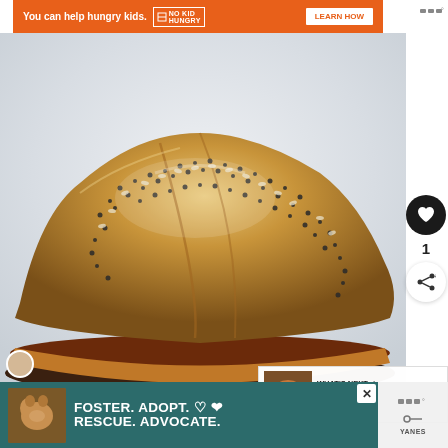[Figure (other): Orange banner advertisement: 'You can help hungry kids.' with No Kid Hungry badge and 'LEARN HOW' button]
[Figure (photo): Food photography showing a seeded artisan bread loaf (sandwich) dusted with poppy seeds and sesame seeds, on a light grey/white background with sandwich filling visible]
[Figure (other): Interactive sidebar with heart/save button (black circle), number '1', and share button]
[Figure (other): What's Next panel showing thumbnail of food and text 'Fabulous 4th of July Vega...']
[Figure (other): Bottom advertisement banner on teal background: 'FOSTER. ADOPT. RESCUE. ADVOCATE.' with dog photo and heart icons, close button]